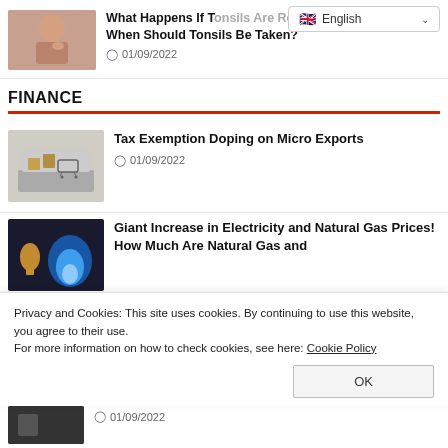[Figure (screenshot): Language selector dropdown button showing English with flag]
[Figure (photo): Woman touching her throat/neck area]
What Happens If Tonsils Are Not Removed? When Should Tonsils Be Taken?
01/09/2022
FINANCE
[Figure (photo): Shopping cart with boxes on laptop keyboard — micro exports concept]
Tax Exemption Doping on Micro Exports
01/09/2022
[Figure (photo): Gas flame burner — electricity and natural gas prices]
Giant Increase in Electricity and Natural Gas Prices! How Much Are Natural Gas and
Privacy and Cookies: This site uses cookies. By continuing to use this website, you agree to their use.
For more information on how to check cookies, see here: Cookie Policy
OK
[Figure (photo): Dark thumbnail image, partially visible at bottom]
01/09/2022